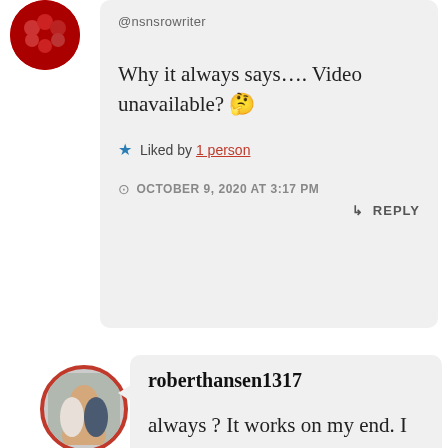@nsnsrowriter
Why it always says.... Video unavailable? 🤔
★ Liked by 1 person
OCTOBER 9, 2020 AT 3:17 PM
↳ REPLY
roberthansen1317
always ? It works on my end. I tried on 3